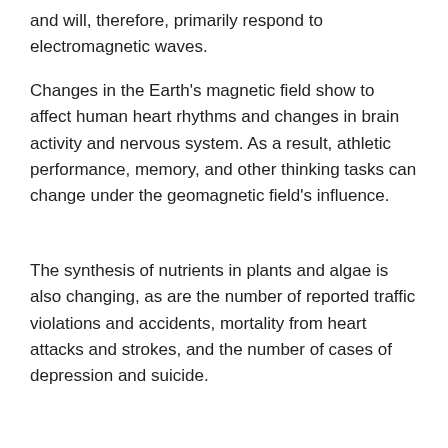and will, therefore, primarily respond to electromagnetic waves.
Changes in the Earth's magnetic field show to affect human heart rhythms and changes in brain activity and nervous system. As a result, athletic performance, memory, and other thinking tasks can change under the geomagnetic field's influence.
The synthesis of nutrients in plants and algae is also changing, as are the number of reported traffic violations and accidents, mortality from heart attacks and strokes, and the number of cases of depression and suicide.
The Earth and Ionosphere together generate frequencies ranging from 0.01 hertz to 300 hertz. Some of those frequencies resonate with the magnetic field, others with those of the human autonomic nervous system. The researchers indicate that we may be more closely connected to the Earth's field than
We are using cookies
I accept